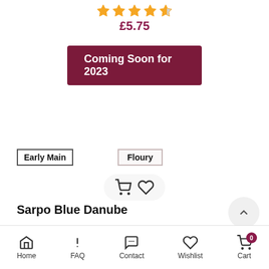[Figure (other): Star rating: 4 out of 5 filled stars]
£5.75
Coming Soon for 2023
Early Main
Floury
[Figure (other): Cart and wishlist action buttons]
Sarpo Blue Danube
[Figure (other): Star rating: 5 out of 5 filled stars]
Home  FAQ  Contact  Wishlist  Cart